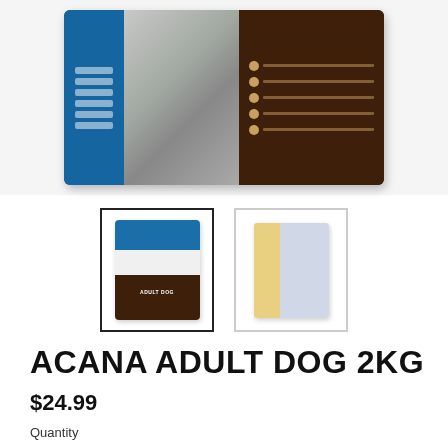[Figure (photo): Acana Adult Dog 2KG pet food package - large product shot showing blue, grey/white and brown sections of the box]
[Figure (photo): Two thumbnail images of Acana Adult Dog product - first thumbnail selected with dark border showing front of blue/brown bag, second thumbnail showing back/side of package]
ACANA ADULT DOG 2KG
$24.99
Quantity